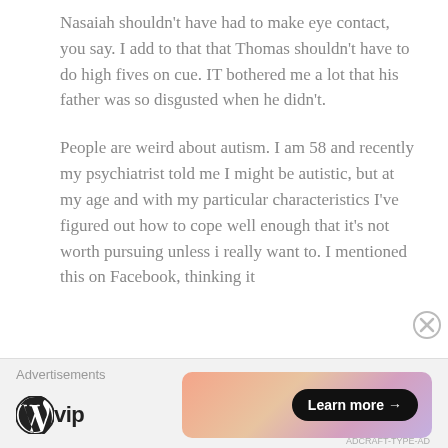Nasaiah shouldn't have had to make eye contact, you say. I add to that that Thomas shouldn't have to do high fives on cue. IT bothered me a lot that his father was so disgusted when he didn't.
People are weird about autism. I am 58 and recently my psychiatrist told me I might be autistic, but at my age and with my particular characteristics I've figured out how to cope well enough that it's not worth pursuing unless i really want to. I mentioned this on Facebook, thinking it
Advertisements